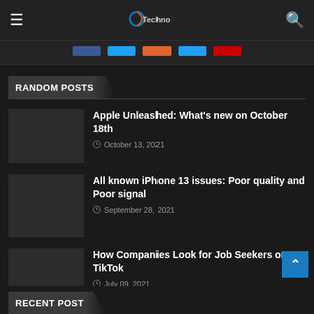≡ [logo] 🔍
[Figure (other): Social media icon buttons row: Facebook (blue), Twitter (light blue), orange, light blue, red]
RANDOM POSTS
Apple Unleashed: What's new on October 18th — October 13, 2021
All known iPhone 13 issues: Poor quality and Poor signal — September 28, 2021
How Companies Look for Job Seekers on TikTok — July 09, 2021
RECENT POST